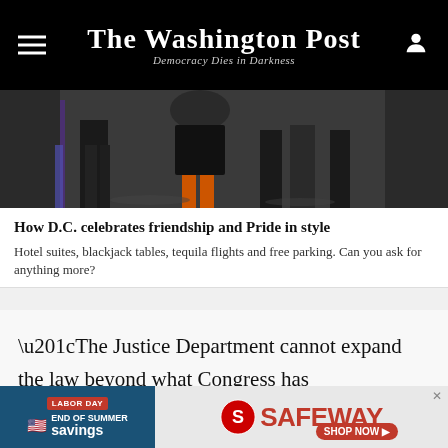The Washington Post — Democracy Dies in Darkness
[Figure (photo): Partial photo of people at an event, showing lower bodies and legs, dark/colorful background]
How D.C. celebrates friendship and Pride in style
Hotel suites, blackjack tables, tequila flights and free parking. Can you ask for anything more?
“The Justice Department cannot expand the law beyond what Congress has provided,” O’Malley said. “Unfortunately, the last administration abandoned that fundamental principle, which necessitated today’s action.” Sessions’s memo was first reported by
[Figure (other): Safeway advertisement banner: Labor Day end of summer savings, Safeway Shop Now]